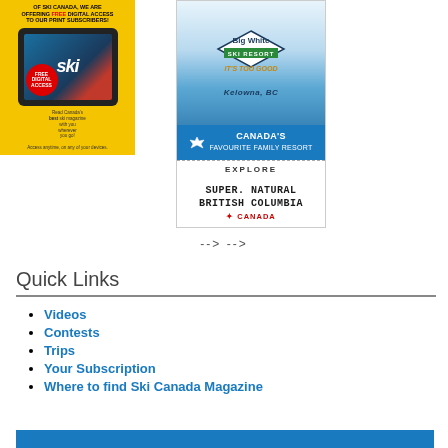[Figure (advertisement): Ski Canada magazine digital access advertisement with yellow background, tablet device showing ski magazine cover, red Free Digital Access badge, and text about free digital access for print subscribers]
[Figure (advertisement): Big White Ski Resort advertisement showing diamond logo, 'It's Too Good' tagline, 'Kelowna, BC', Canada's Favourite Family Resort banner, Explore section, and SuperNatural British Columbia Canada tourism branding]
--> -->
Quick Links
Videos
Contests
Trips
Your Subscription
Where to find Ski Canada Magazine